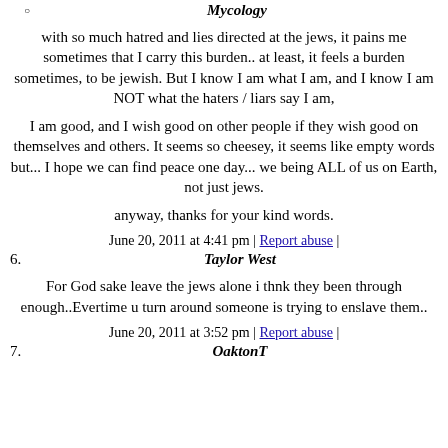Mycology
with so much hatred and lies directed at the jews, it pains me sometimes that I carry this burden.. at least, it feels a burden sometimes, to be jewish. But I know I am what I am, and I know I am NOT what the haters / liars say I am,
I am good, and I wish good on other people if they wish good on themselves and others. It seems so cheesey, it seems like empty words but... I hope we can find peace one day... we being ALL of us on Earth, not just jews.
anyway, thanks for your kind words.
June 20, 2011 at 4:41 pm | Report abuse |
6. Taylor West
For God sake leave the jews alone i thnk they been through enough..Evertime u turn around someone is trying to enslave them..
June 20, 2011 at 3:52 pm | Report abuse |
7. OaktonT